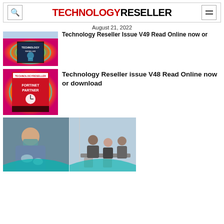TECHNOLOGY RESELLER
August 21, 2022
Technology Reseller Issue V49 Read Online now or download
[Figure (photo): Technology Reseller issue V49 magazine cover thumbnail with colorful swirl background and astronaut image]
Technology Reseller issue V48 Read Online now or download
[Figure (photo): Technology Reseller issue V48 magazine cover thumbnail with Fortinet Partner text on red background]
[Figure (photo): Split image: left side shows a nurse/medical professional in scrubs and mask holding gloves; right side shows people in an office meeting room]